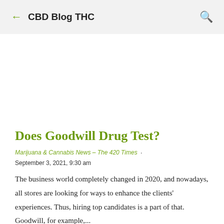CBD Blog THC
Does Goodwill Drug Test?
Marijuana & Cannabis News – The 420 Times · September 3, 2021, 9:30 am
The business world completely changed in 2020, and nowadays, all stores are looking for ways to enhance the clients' experiences. Thus, hiring top candidates is a part of that. Goodwill, for example,...